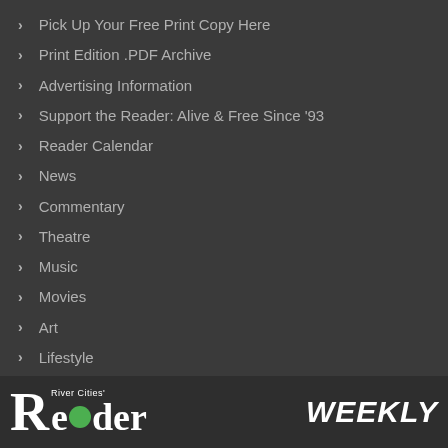Pick Up Your Free Print Copy Here
Print Edition .PDF Archive
Advertising Information
Support the Reader: Alive & Free Since '93
Reader Calendar
News
Commentary
Theatre
Music
Movies
Art
Lifestyle
News Releases
[Figure (logo): River Cities' Reader Weekly logo with large R, green dot in word Reader, and WEEKLY text]